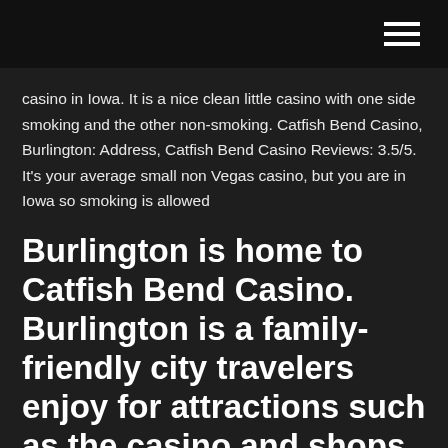casino in Iowa. It is a nice clean little casino with one side smoking and the other non-smoking. Catfish Bend Casino, Burlington: Address, Catfish Bend Casino Reviews: 3.5/5. It's your average small non Vegas casino, but you are in Iowa so smoking is allowed
Burlington is home to Catfish Bend Casino. Burlington is a family-friendly city travelers enjoy for attractions such as the casino and shops. If you're looking for things to see and do in the area, you might like to visit